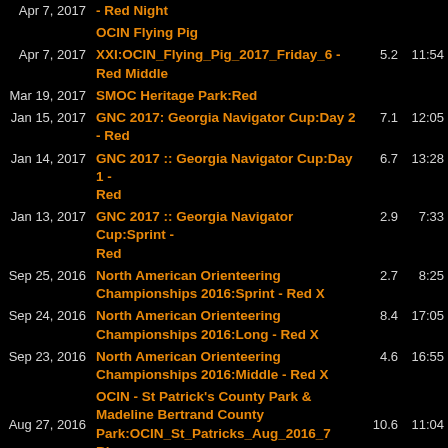| Date | Event | Dist | Time |
| --- | --- | --- | --- |
| Apr 7, 2017 | - Red Night | 5.2 | 11:54 |
|  | OCIN Flying Pig |  |  |
| Apr 7, 2017 | XXI:OCIN_Flying_Pig_2017_Friday_6 - Red Middle | 5.2 | 11:54 |
| Mar 19, 2017 | SMOC Heritage Park:Red |  |  |
| Jan 15, 2017 | GNC 2017: Georgia Navigator Cup:Day 2 - Red | 7.1 | 12:05 |
| Jan 14, 2017 | GNC 2017 :: Georgia Navigator Cup:Day 1 - Red | 6.7 | 13:28 |
| Jan 13, 2017 | GNC 2017 :: Georgia Navigator Cup:Sprint - Red | 2.9 | 7:33 |
| Sep 25, 2016 | North American Orienteering Championships 2016:Sprint - Red X | 2.7 | 8:25 |
| Sep 24, 2016 | North American Orienteering Championships 2016:Long - Red X | 8.4 | 17:05 |
| Sep 23, 2016 | North American Orienteering Championships 2016:Middle - Red X | 4.6 | 16:55 |
| Aug 27, 2016 | OCIN - St Patrick's County Park & Madeline Bertrand County Park:OCIN_St_Patricks_Aug_2016_7 Blue | 10.6 | 11:04 |
| Jan 17, 2016 | Georgia Navigator Cup 2016:Red |  |  |
| Jan 16, 2016 | Georgia Navigator Cup 2016:Red |  |  |
| Sep 5, 2015 | Cuyahoga Valley National Park Python Goat:Python Goat | 10.1 | 16:24 |